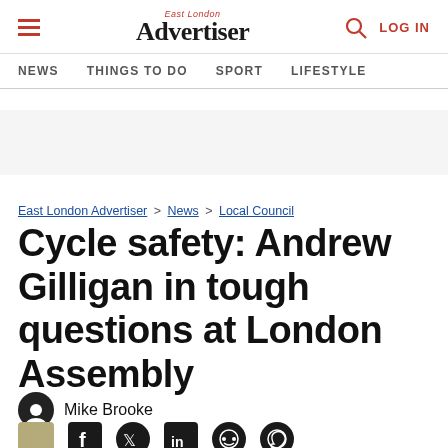East London Advertiser — NEWS | THINGS TO DO | SPORT | LIFESTYLE
East London Advertiser > News > Local Council
Cycle safety: Andrew Gilligan in tough questions at London Assembly
Mike Brooke